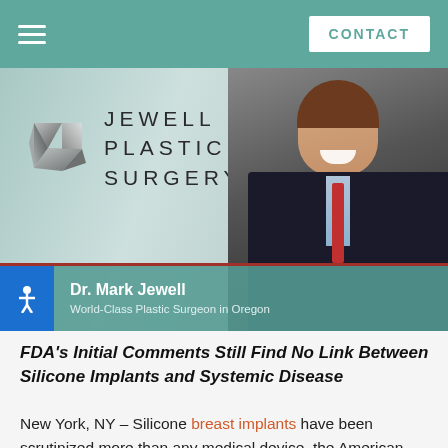CONTACT
[Figure (photo): Dr. Mark Jewell, plastic surgeon, smiling in a dark suit and red tie, with Jewell Plastic Surgery logo in the background]
Dr. Mark Jewell
World-Class Plastic Surgeon in Oregon
FDA's Initial Comments Still Find No Link Between Silicone Implants and Systemic Disease
New York, NY – Silicone breast implants have been scrutinized more than any medical device, the American